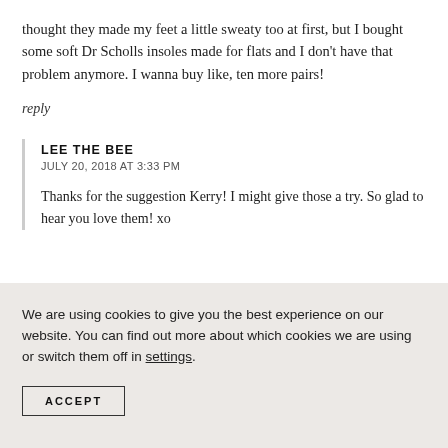thought they made my feet a little sweaty too at first, but I bought some soft Dr Scholls insoles made for flats and I don't have that problem anymore. I wanna buy like, ten more pairs!
reply
LEE THE BEE
JULY 20, 2018 AT 3:33 PM
Thanks for the suggestion Kerry! I might give those a try. So glad to hear you love them! xo
We are using cookies to give you the best experience on our website. You can find out more about which cookies we are using or switch them off in settings.
ACCEPT